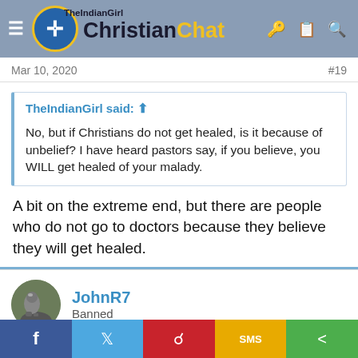TheIndianGirl | Christian Chat
Mar 10, 2020  #19
TheIndianGirl said: ↑

No, but if Christians do not get healed, is it because of unbelief? I have heard pastors say, if you believe, you WILL get healed of your malady.
A bit on the extreme end, but there are people who do not go to doctors because they believe they will get healed.
JohnR7
Banned
Mar 10, 2020  #20